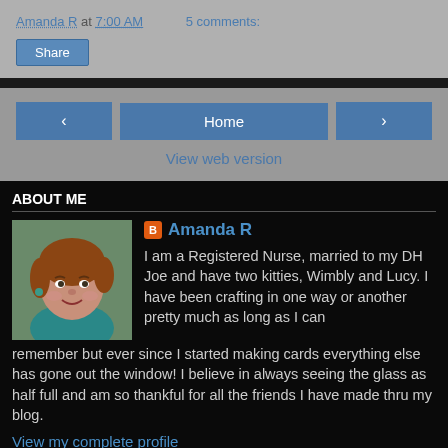Amanda R at 7:00 AM   5 comments:
Share
< Home >
View web version
ABOUT ME
[Figure (photo): Profile photo of Amanda R, a woman with short reddish-brown hair]
Amanda R
I am a Registered Nurse, married to my DH Joe and have two kitties, Wimbly and Lucy. I have been crafting in one way or another pretty much as long as I can remember but ever since I started making cards everything else has gone out the window! I believe in always seeing the glass as half full and am so thankful for all the friends I have made thru my blog.
View my complete profile
Powered by Blogger.